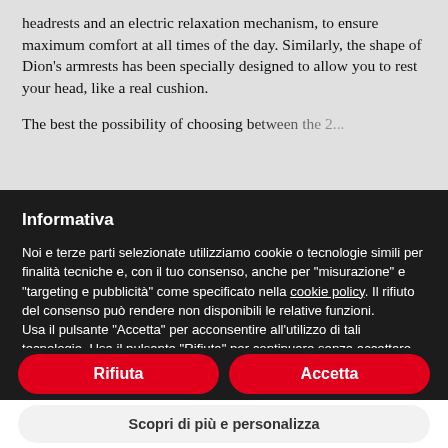headrests and an electric relaxation mechanism, to ensure maximum comfort at all times of the day. Similarly, the shape of Dion's armrests has been specially designed to allow you to rest your head, like a real cushion.
The best the possibility of choosing between the 2...
Informativa
Noi e terze parti selezionate utilizziamo cookie o tecnologie simili per finalità tecniche e, con il tuo consenso, anche per "misurazione" e "targeting e pubblicità" come specificato nella cookie policy. Il rifiuto del consenso può rendere non disponibili le relative funzioni.
Usa il pulsante "Accetta" per acconsentire all'utilizzo di tali tecnologie. Usa il pulsante "Rifiuta" per continuare senza accettare.
Rifiuta
Accetta
Scopri di più e personalizza